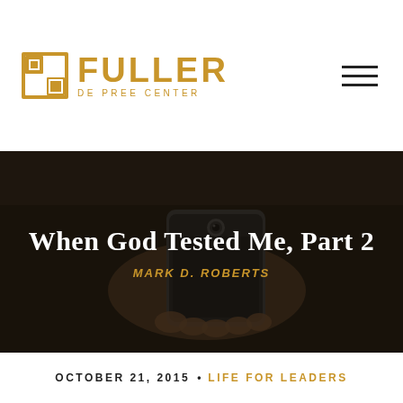[Figure (logo): Fuller De Pree Center logo with golden square icon and FULLER DE PREE CENTER text in gold]
[Figure (photo): Dark moody photo of a person in a suit holding a smartphone, used as hero background image]
When God Tested Me, Part 2
MARK D. ROBERTS
OCTOBER 21, 2015 • LIFE FOR LEADERS